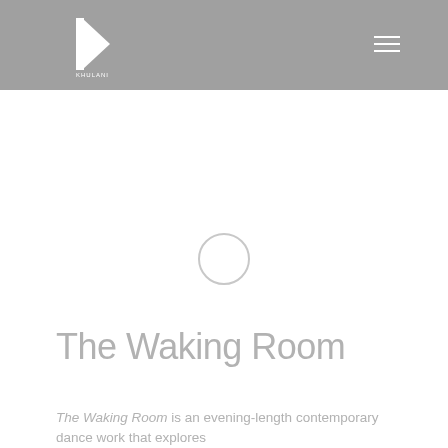KHULANI (logo header with navigation)
[Figure (logo): KHULANI logo: white geometric shape resembling a backward arrow/triangle on gray background with text 'KHULANI' below]
[Figure (other): Loading spinner circle indicator in center of white content area]
The Waking Room
The Waking Room is an evening-length contemporary dance work that explores